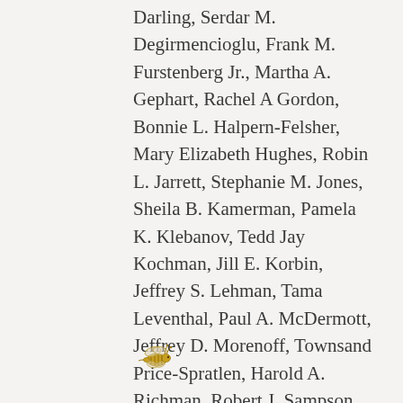Darling, Serdar M. Degirmencioglu, Frank M. Furstenberg Jr., Martha A. Gephart, Rachel A Gordon, Bonnie L. Halpern-Felsher, Mary Elizabeth Hughes, Robin L. Jarrett, Stephanie M. Jones, Sheila B. Kamerman, Pamela K. Klebanov, Tedd Jay Kochman, Jill E. Korbin, Jeffrey S. Lehman, Tama Leventhal, Paul A. McDermott, Jeffrey D. Morenoff, Townsand Price-Spratlen, Harold A. Richman, Robert J. Sampson, Edward Seidman, Shobha C. Shagle, Timothy M. Smeeding, Margaret Beale Spencer, Laurence Steinberg, Dena Phillips Swanson, Peter A. Usinger.
[Figure (illustration): Small golden/yellow bee illustration]